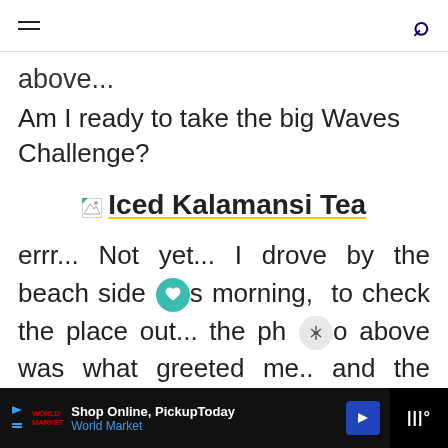navigation header with hamburger menu and search icon
above...
Am I ready to take the big Waves Challenge?
[Figure (other): Broken image placeholder next to link 'Iced Kalamansi Tea' with yellow underline]
errr... Not yet... I drove by the beach side this morning, to check the place out... the photo above was what greeted me.. and the strong wind nearly pushed me backwards... I don't think my aNDy could take the shock...
Shop Online, Pickup Today World Market — advertisement bar